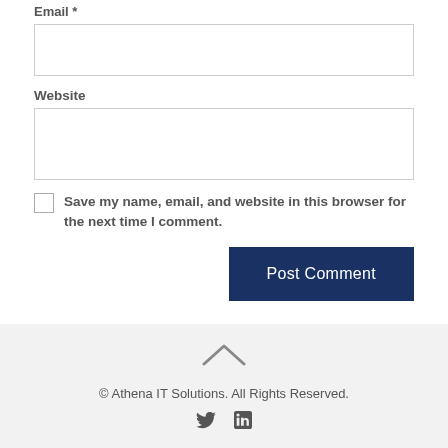Email *
Website
Save my name, email, and website in this browser for the next time I comment.
Post Comment
© Athena IT Solutions. All Rights Reserved.